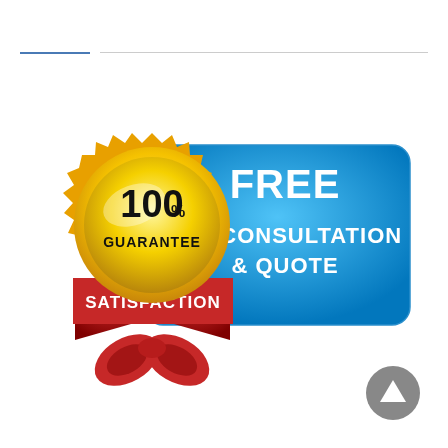[Figure (infographic): 100% Guarantee Satisfaction badge (gold medal with red ribbon) alongside a blue rounded rectangle banner reading FREE TAX CONSULTATION & QUOTE]
[Figure (illustration): Gray circular back-to-top arrow button in the bottom right corner]